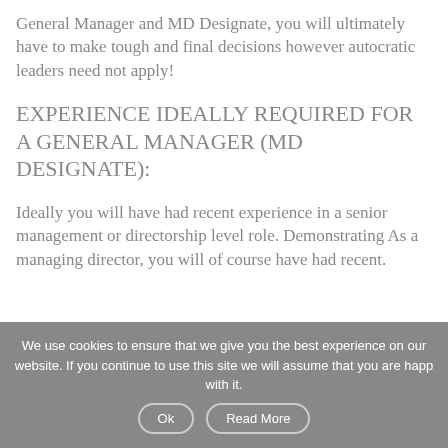General Manager and MD Designate, you will ultimately have to make tough and final decisions however autocratic leaders need not apply!
EXPERIENCE IDEALLY REQUIRED FOR A GENERAL MANAGER (MD DESIGNATE):
Ideally you will have had recent experience in a senior management or directorship level role. Demonstrating As a managing director, you will of course have had recent.
We use cookies to ensure that we give you the best experience on our website. If you continue to use this site we will assume that you are happy with it.